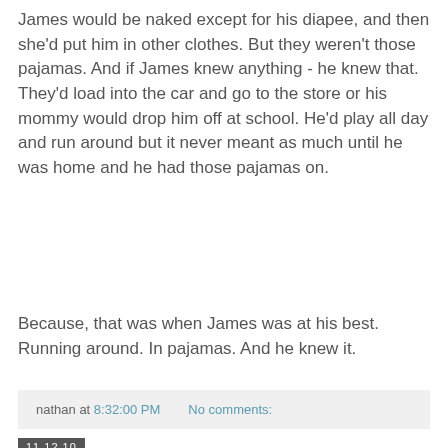James would be naked except for his diapee, and then she'd put him in other clothes. But they weren't those pajamas. And if James knew anything - he knew that. They'd load into the car and go to the store or his mommy would drop him off at school. He'd play all day and run around but it never meant as much until he was home and he had those pajamas on.
Because, that was when James was at his best. Running around. In pajamas. And he knew it.
nathan at 8:32:00 PM    No comments:
11.12.10
Chapter 1
[Figure (photo): Dark blue-toned photograph showing a person or figure with striped clothing, partially obscured, with abstract dark background.]